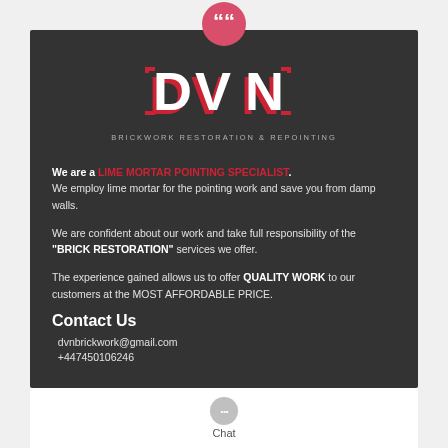[Figure (logo): DVN Brickwork Restoration & Repointing logo — bold red and white letters DVN with bracket styling, subtitle text 'BRICKWORK RESTORATION & REPOINTING']
We are a LIME MORTAR POINTING SPECIALIST. We employ lime mortar for the pointing work and save you from damp walls.
We are confident about our work and take full responsibility of the "BRICK RESTORATION" services we offer.
The experience gained allows us to offer QUALITY WORK to our customers at the MOST AFFORDABLE PRICE.
Contact Us
dvnbrickwork@gmail.com
+447450106246